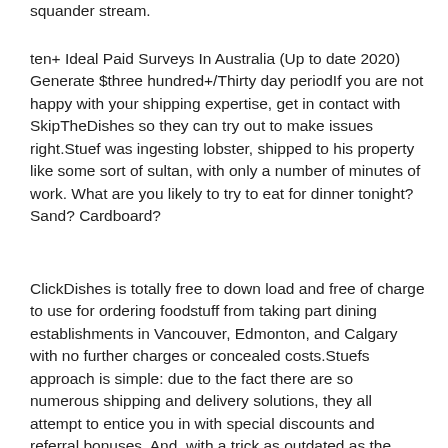squander stream.
ten+ Ideal Paid Surveys In Australia (Up to date 2020) Generate $three hundred+/Thirty day periodIf you are not happy with your shipping expertise, get in contact with SkipTheDishes so they can try out to make issues right.Stuef was ingesting lobster, shipped to his property like some sort of sultan, with only a number of minutes of work. What are you likely to try to eat for dinner tonight? Sand? Cardboard?
ClickDishes is totally free to down load and free of charge to use for ordering foodstuff from taking part dining establishments in Vancouver, Edmonton, and Calgary with no further charges or concealed costs.Stuefs approach is simple: due to the fact there are so numerous shipping and delivery solutions, they all attempt to entice you in with special discounts and referral bonuses. And, with a trick as outdated as the internet by itself, you can match